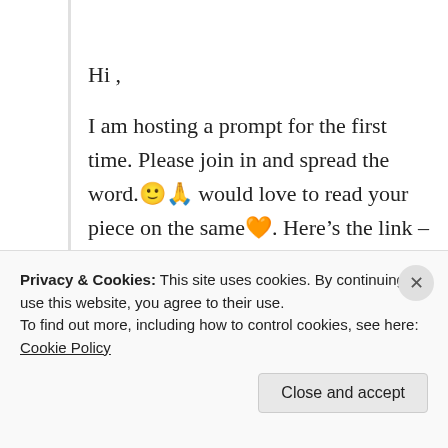Hi ,
I am hosting a prompt for the first time. Please join in and spread the word. 🙂🙏 would love to read your piece on the same🧡. Here's the link – https://poetrylance.in/picture-prompt-plate/
★ Liked by 1 person
Log in to Reply
Privacy & Cookies: This site uses cookies. By continuing to use this website, you agree to their use.
To find out more, including how to control cookies, see here: Cookie Policy
Close and accept